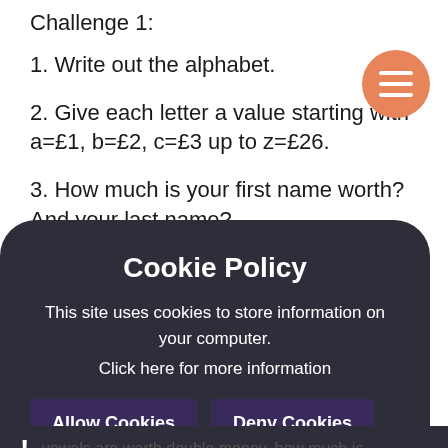Challenge 1:
1. Write out the alphabet.
2. Give each letter a value starting with a=£1, b=£2, c=£3 up to z=£26.
3. How much is your first name worth? And your last name?
4. How much is your teacher's name worth?
5. What would be the most expensive day of the week?
6. Which month would be the most expensive?
[Figure (screenshot): Cookie Policy popup overlay with dark background. Title: Cookie Policy. Body: This site uses cookies to store information on your computer. Click here for more information. Buttons: Allow Cookies, Deny Cookies. Exclamation mark at bottom left. Partial text: vowels are worth double money, how much is]
vowels are worth double money, how much is